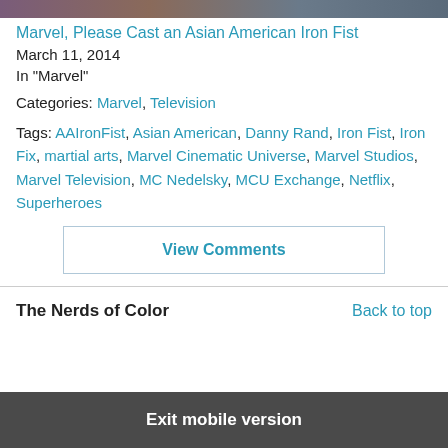[Figure (photo): Top portion of an image, partially cropped, showing muted purple/green tones]
Marvel, Please Cast an Asian American Iron Fist
March 11, 2014
In "Marvel"
Categories: Marvel, Television
Tags: AAIronFist, Asian American, Danny Rand, Iron Fist, Iron Fix, martial arts, Marvel Cinematic Universe, Marvel Studios, Marvel Television, MC Nedelsky, MCU Exchange, Netflix, Superheroes
View Comments
The Nerds of Color
Back to top
Exit mobile version